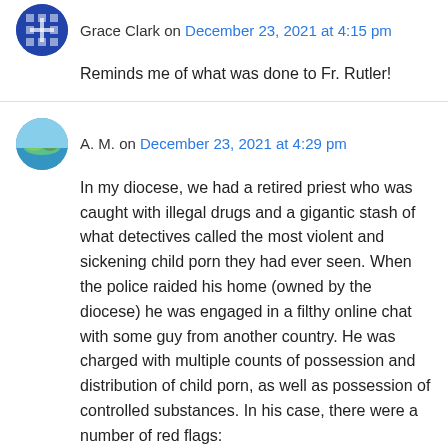Grace Clark on December 23, 2021 at 4:15 pm
Reminds me of what was done to Fr. Rutler!
A. M. on December 23, 2021 at 4:29 pm
In my diocese, we had a retired priest who was caught with illegal drugs and a gigantic stash of what detectives called the most violent and sickening child porn they had ever seen. When the police raided his home (owned by the diocese) he was engaged in a filthy online chat with some guy from another country. He was charged with multiple counts of possession and distribution of child porn, as well as possession of controlled substances. In his case, there were a number of red flags: